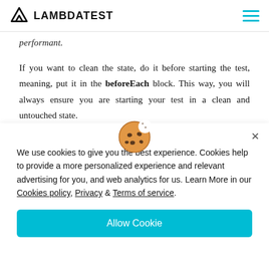LAMBDATEST
performant.
If you want to clean the state, do it before starting the test, meaning, put it in the beforeEach block. This way, you will always ensure you are starting your test in a clean and untouched state.
[Figure (screenshot): Purple banner with cookie icon overlay and partial content behind it]
We use cookies to give you the best experience. Cookies help to provide a more personalized experience and relevant advertising for you, and web analytics for us. Learn More in our Cookies policy, Privacy & Terms of service.
Allow Cookie